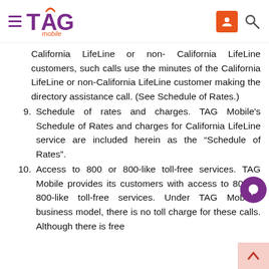[Figure (logo): TAG Mobile logo with hamburger menu icon on left, user and search icons on right]
California LifeLine or non- California LifeLine customers, such calls use the minutes of the California LifeLine or non-California LifeLine customer making the directory assistance call. (See Schedule of Rates.)
9. Schedule of rates and charges. TAG Mobile's Schedule of Rates and charges for California LifeLine service are included herein as the “Schedule of Rates”.
10. Access to 800 or 800-like toll-free services. TAG Mobile provides its customers with access to 800 or 800-like toll-free services. Under TAG Mobile's business model, there is no toll charge for these calls. Although there is free access to 800 or 800-like toll-free